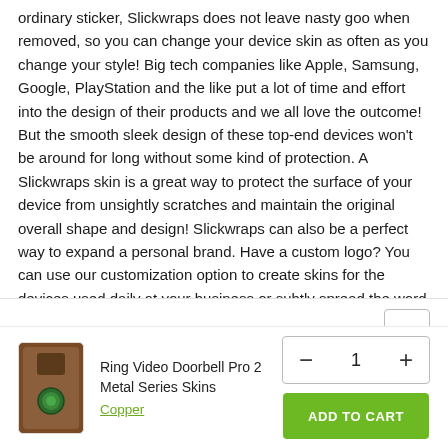ordinary sticker, Slickwraps does not leave nasty goo when removed, so you can change your device skin as often as you change your style! Big tech companies like Apple, Samsung, Google, PlayStation and the like put a lot of time and effort into the design of their products and we all love the outcome! But the smooth sleek design of these top-end devices won't be around for long without some kind of protection. A Slickwraps skin is a great way to protect the surface of your device from unsightly scratches and maintain the original overall shape and design! Slickwraps can also be a perfect way to expand a personal brand. Have a custom logo? You can use our customization option to create skins for the devices used daily at your business or subtly spread the word while you take calls on a personalized cell phone.
How to Install and remove your Slickwraps?
[Figure (other): Ring Video Doorbell Pro 2 product thumbnail - brown/bronze colored doorbell device with circular green accent]
Ring Video Doorbell Pro 2 Metal Series Skins
Copper